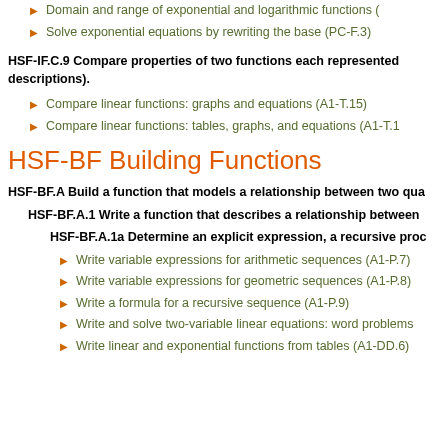Domain and range of exponential and logarithmic functions (
Solve exponential equations by rewriting the base (PC-F.3)
HSF-IF.C.9 Compare properties of two functions each represented descriptions).
Compare linear functions: graphs and equations (A1-T.15)
Compare linear functions: tables, graphs, and equations (A1-T.1
HSF-BF Building Functions
HSF-BF.A Build a function that models a relationship between two qua
HSF-BF.A.1 Write a function that describes a relationship between
HSF-BF.A.1a Determine an explicit expression, a recursive proc
Write variable expressions for arithmetic sequences (A1-P.7)
Write variable expressions for geometric sequences (A1-P.8)
Write a formula for a recursive sequence (A1-P.9)
Write and solve two-variable linear equations: word problems
Write linear and exponential functions from tables (A1-DD.6)